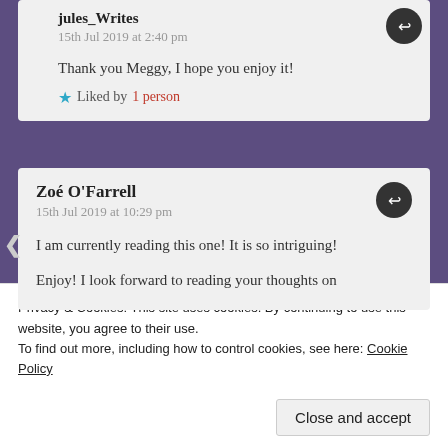jules_Writes
15th Jul 2019 at 2:40 pm
Thank you Meggy, I hope you enjoy it!
Liked by 1 person
Zoé O'Farrell
15th Jul 2019 at 10:29 pm
I am currently reading this one! It is so intriguing! Agree about Kate! Fab review
Liked by 1 person
Privacy & Cookies: This site uses cookies. By continuing to use this website, you agree to their use.
To find out more, including how to control cookies, see here: Cookie Policy
Close and accept
Enjoy! I look forward to reading your thoughts on